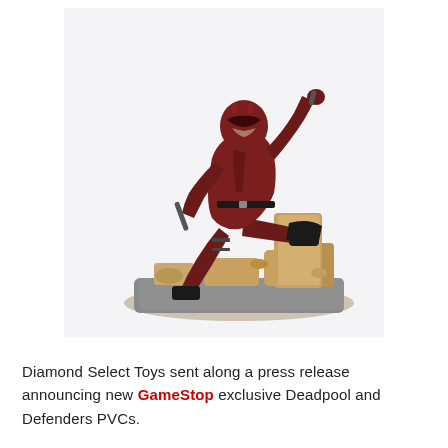[Figure (photo): A collectible PVC statue of Daredevil in a dark red and black suit, posed dynamically on a rubble-and-stone base, with one leg raised on a broken wall, holding a billy club.]
Diamond Select Toys sent along a press release announcing new GameStop exclusive Deadpool and Defenders PVCs.